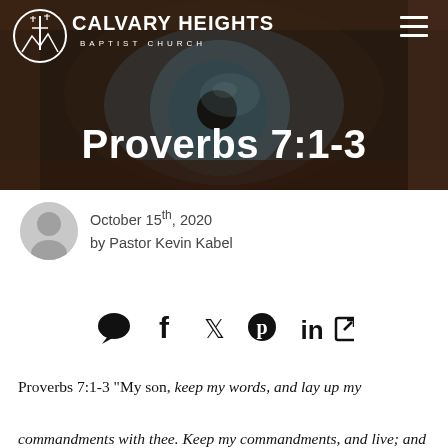[Figure (photo): Header banner with close-up photo of a blue eye with dark overlay, Calvary Heights Baptist Church logo on left, hamburger menu icon on right, and 'Proverbs 7:1-3' title centered at bottom]
October 15th, 2020
by Pastor Kevin Kabel
[Figure (infographic): Social sharing icons row: comment bubble, Facebook f, Twitter bird, Pinterest P, LinkedIn in, external link arrow]
Proverbs 7:1-3 "My son, keep my words, and lay up my commandments with thee. Keep my commandments, and live; and